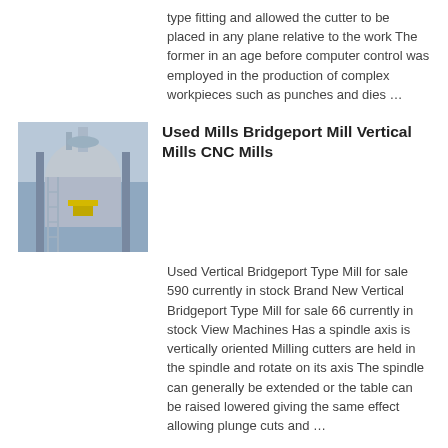type fitting and allowed the cutter to be placed in any plane relative to the work The former in an age before computer control was employed in the production of complex workpieces such as punches and dies …
[Figure (photo): Industrial milling machine, vertical mill with yellow accents, factory setting]
Used Mills Bridgeport Mill Vertical Mills CNC Mills
Used Vertical Bridgeport Type Mill for sale 590 currently in stock Brand New Vertical Bridgeport Type Mill for sale 66 currently in stock View Machines Has a spindle axis is vertically oriented Milling cutters are held in the spindle and rotate on its axis The spindle can generally be extended or the table can be raised lowered giving the same effect allowing plunge cuts and …
[Figure (photo): Milling attachments heads parts image]
Milling Attachments Heads Parts for sale